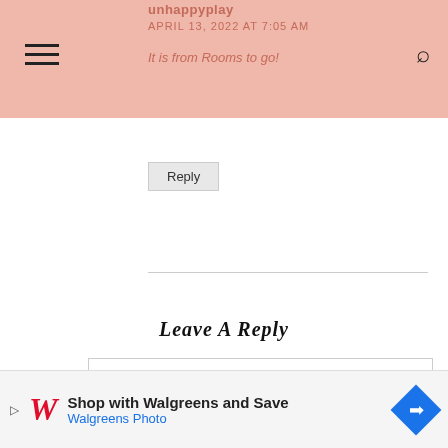unhappyplay
APRIL 13, 2022 AT 7:05 AM
It is from Rooms to go!
Reply
Leave A Reply
[Figure (screenshot): Empty text area input box for writing a reply comment]
[Figure (other): Advertisement banner: Shop with Walgreens and Save - Walgreens Photo]
X